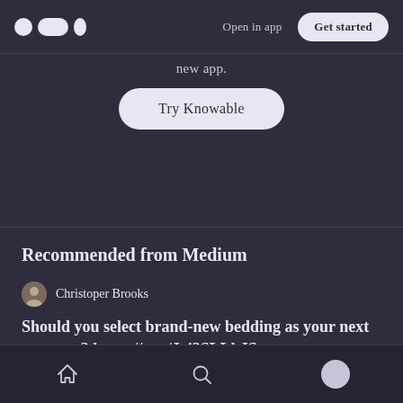Medium logo | Open in app | Get started
new app.
Try Knowable
Recommended from Medium
Christoper Brooks
Should you select brand-new bedding as your next mattress? https://t.co/Joi3SLLbJS
Home | Search | Profile